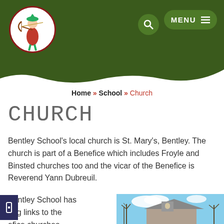[Figure (logo): Robin Hood archer logo in a white circle on dark green header background]
Home » School » Church
CHURCH
Bentley School's local church is St. Mary's, Bentley. The church is part of a Benefice which includes Froyle and Binsted churches too and the vicar of the Benefice is Reverend Yann Dubreuil.
Bentley School has ong links to the efice churches
[Figure (photo): Photo of a church building with bare winter trees against a blue sky with clouds]